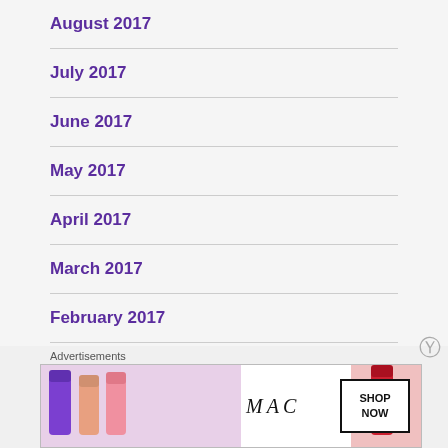August 2017
July 2017
June 2017
May 2017
April 2017
March 2017
February 2017
[Figure (photo): MAC Cosmetics advertisement banner showing colorful lipsticks with MAC logo and SHOP NOW button]